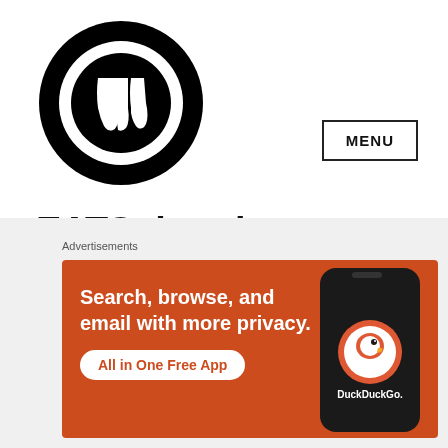[Figure (logo): EATSplorations circular logo with fork icon]
EATSplorations
MENU
Tag: Rice Bowls
[Figure (screenshot): DuckDuckGo advertisement: Search, browse, and email with more privacy. All in One Free App. Shows DuckDuckGo app on phone.]